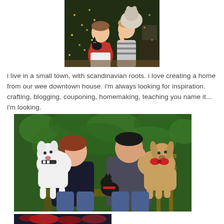[Figure (photo): Two people standing in front of a Christmas tree, one holding a black cat and the other holding a light-colored dog. One person wears a red and white sweater, the other wears a striped top.]
i live in a small town, with scandinavian roots. i love creating a home from our wee downtown house. i'm always looking for inspiration. crafting, blogging, couponing, homemaking, teaching you name it... i'm looking.
[Figure (photo): A couple sitting outdoors on a wooden bench surrounded by greenery, each holding a dog and a cat between them. One has a white dog, the other has a tan/golden dog with a red bow. A small black cat is visible between them.]
[Figure (photo): Partial view of a third photo at the bottom of the page, appears to show a dark background with some red and holiday-themed elements.]